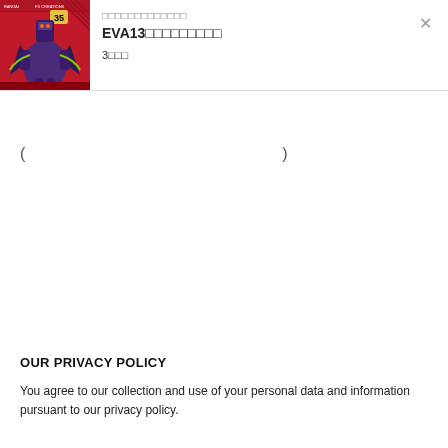[Figure (photo): Product image of EVA13 figure/toy with purple and dark coloring, shown against a red branded background with Japanese text branding]
□□□□□□□□□□□□□
EVA13□□□□□□□□□
3□□□
(                    )
OUR PRIVACY POLICY
You agree to our collection and use of your personal data and information pursuant to our privacy policy.